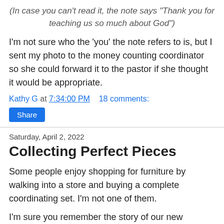(In case you can't read it, the note says "Thank you for teaching us so much about God")
I'm not sure who the 'you' the note refers to is, but I sent my photo to the money counting coordinator so she could forward it to the pastor if she thought it would be appropriate.
Kathy G at 7:34:00 PM   18 comments:
Share
Saturday, April 2, 2022
Collecting Perfect Pieces
Some people enjoy shopping for furniture by walking into a store and buying a complete coordinating set. I'm not one of them.
I'm sure you remember the story of our new loveseats, which led to the need for a square side table. Then the Queen Anne cherry finish table on the other side didn't